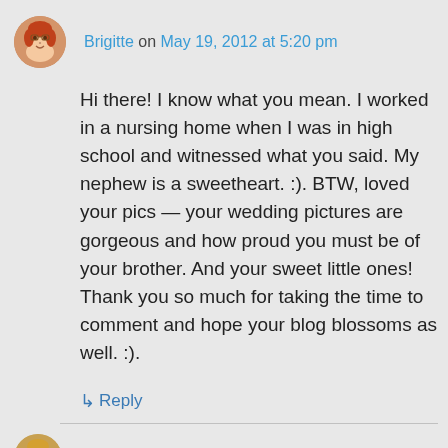Brigitte on May 19, 2012 at 5:20 pm
Hi there! I know what you mean. I worked in a nursing home when I was in high school and witnessed what you said. My nephew is a sweetheart. :). BTW, loved your pics — your wedding pictures are gorgeous and how proud you must be of your brother. And your sweet little ones! Thank you so much for taking the time to comment and hope your blog blossoms as well. :).
↳ Reply
Life and all things love on May 19,